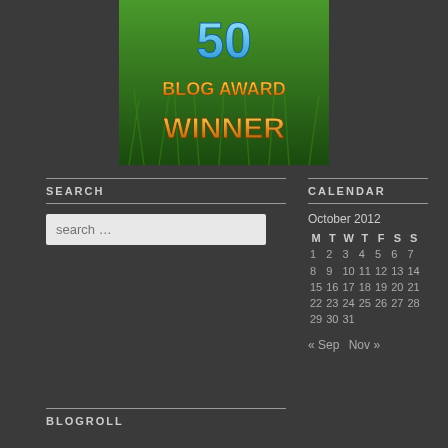[Figure (illustration): Blog award badge showing '50 BLOG AWARD WINNER' text on green grass background with blue and gold lettering]
SEARCH
[Figure (other): Search input box with placeholder text 'search ...']
CALENDAR
| M | T | W | T | F | S | S |
| --- | --- | --- | --- | --- | --- | --- |
| 1 | 2 | 3 | 4 | 5 | 6 | 7 |
| 8 | 9 | 10 | 11 | 12 | 13 | 14 |
| 15 | 16 | 17 | 18 | 19 | 20 | 21 |
| 22 | 23 | 24 | 25 | 26 | 27 | 28 |
| 29 | 30 | 31 |  |  |  |  |
October 2012
« Sep  Nov »
BLOGROLL